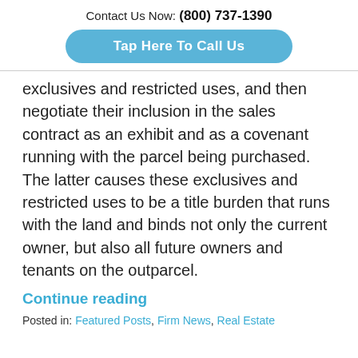Contact Us Now: (800) 737-1390
[Figure (other): Blue rounded button with white text: Tap Here To Call Us]
exclusives and restricted uses, and then negotiate their inclusion in the sales contract as an exhibit and as a covenant running with the parcel being purchased. The latter causes these exclusives and restricted uses to be a title burden that runs with the land and binds not only the current owner, but also all future owners and tenants on the outparcel.
Continue reading
Posted in: Featured Posts, Firm News, Real Estate